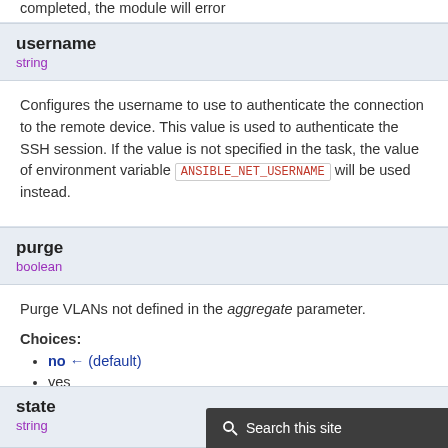completed, the module will error
username
string
Configures the username to use to authenticate the connection to the remote device. This value is used to authenticate the SSH session. If the value is not specified in the task, the value of environment variable ANSIBLE_NET_USERNAME will be used instead.
purge
boolean
Purge VLANs not defined in the aggregate parameter.
Choices:
no ← (default)
yes
state
string